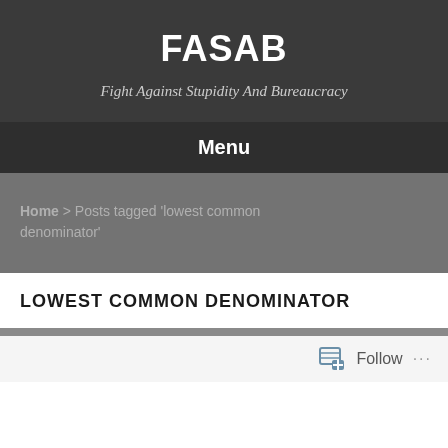FASAB
Fight Against Stupidity And Bureaucracy
Menu
Home > Posts tagged 'lowest common denominator'
LOWEST COMMON DENOMINATOR
Follow ...